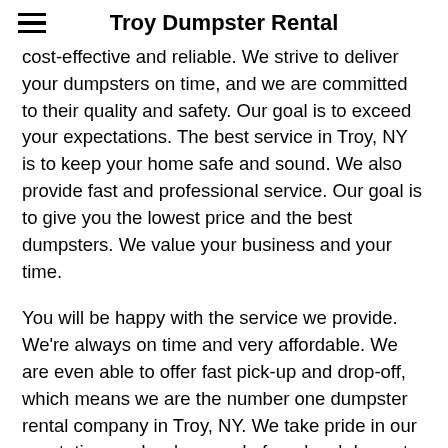Troy Dumpster Rental
cost-effective and reliable. We strive to deliver your dumpsters on time, and we are committed to their quality and safety. Our goal is to exceed your expectations. The best service in Troy, NY is to keep your home safe and sound. We also provide fast and professional service. Our goal is to give you the lowest price and the best dumpsters. We value your business and your time.
You will be happy with the service we provide. We're always on time and very affordable. We are even able to offer fast pick-up and drop-off, which means we are the number one dumpster rental company in Troy, NY. We take pride in our reputation, and we're proud of our local dumpster rental services. Our team of friendly, knowledgeable staff will work with you to determine your needs and find the best solution for your home